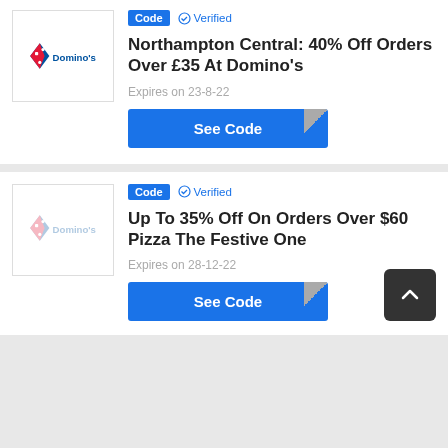[Figure (logo): Domino's logo in top card]
Code  ✓ Verified
Northampton Central: 40% Off Orders Over £35 At Domino's
Expires on 23-8-22
See Code
[Figure (logo): Domino's logo in bottom card (faded)]
Code  ✓ Verified
Up To 35% Off On Orders Over $60 Pizza The Festive One
Expires on 28-12-22
See Code